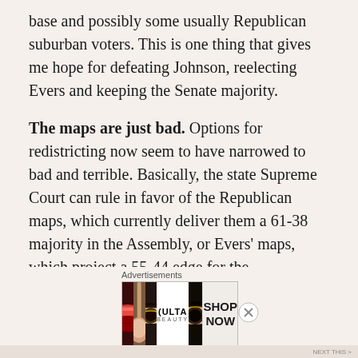base and possibly some usually Republican suburban voters. This is one thing that gives me hope for defeating Johnson, reelecting Evers and keeping the Senate majority.
The maps are just bad. Options for redistricting now seem to have narrowed to bad and terrible. Basically, the state Supreme Court can rule in favor of the Republican maps, which currently deliver them a 61-38 majority in the Assembly, or Evers' maps, which project a 55-44 edge for the Republicans. Evers has maneuvered to give his maps a chance. It all comes down to swing conservative Justice Brian Hagedorn.
[Figure (other): Ulta Beauty advertisement banner showing cosmetic images (lips with red lipstick, makeup brush, eye with dramatic makeup, Ulta logo, eye with bold makeup) and a Shop Now call to action]